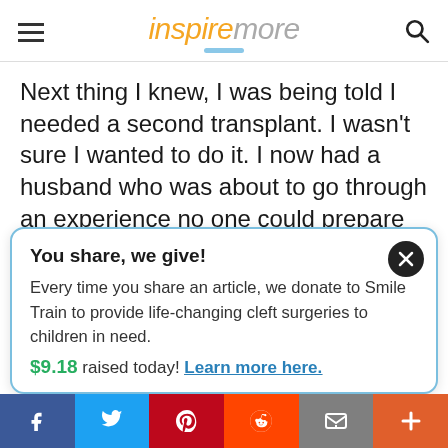inspiremore
Next thing I knew, I was being told I needed a second transplant. I wasn't sure I wanted to do it. I now had a husband who was about to go through an experience no one could prepare him for. We decided together to do it...
You share, we give!
Every time you share an article, we donate to Smile Train to provide life-changing cleft surgeries to children in need.
$9.18 raised today! Learn more here.